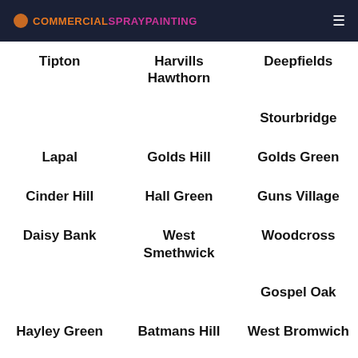COMMERCIALSPRAYPAINTING
Tipton
Harvills Hawthorn
Deepfields
Stourbridge
Lapal
Golds Hill
Golds Green
Cinder Hill
Hall Green
Guns Village
Daisy Bank
West Smethwick
Woodcross
Gospel Oak
Hayley Green
Batmans Hill
West Bromwich
Londonderry
Old Swinford
Wollaston
Ladymoor
Black Lake
Highfields